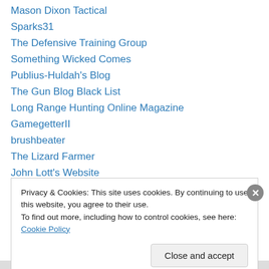Mason Dixon Tactical
Sparks31
The Defensive Training Group
Something Wicked Comes
Publius-Huldah's Blog
The Gun Blog Black List
Long Range Hunting Online Magazine
GamegetterII
brushbeater
The Lizard Farmer
John Lott's Website
Declination
The Aging Rebel
Privacy & Cookies: This site uses cookies. By continuing to use this website, you agree to their use. To find out more, including how to control cookies, see here: Cookie Policy
Close and accept